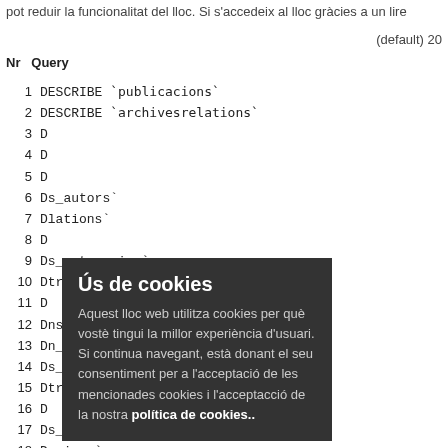pot reduir la funcionalitat del lloc. Si s'accedeix al lloc gràcies a un lire
(default) 20
Nr  Query
1   DESCRIBE `publicacions`
2   DESCRIBE `archivesrelations`
3   D
4   D
5   D
6   D ...s_autors`
7   D ...lations`
8   D
9   D ...s_categories`
10  D ...translations`
11  D
12  D ...ns`
13  D ...n_translations`
14  D ...s_colleccions`
15  D ...translations`
16  D
17  D ...s_editors`
18  D ...acions`
19  D ...s_enquadernacions`
20  D ...acion_translations`
21  D
22  DESCRIBE `catformacions`
23  DESCRIBE `catformacion_translations`
24  DESCRIBE `publicacions_formacions`
25  DESCRIBE `formacion_translations`
26  DESCRIBE `idiomas`
[Figure (other): Cookie consent overlay popup with title 'Ús de cookies' and body text about cookie usage policy in Catalan]